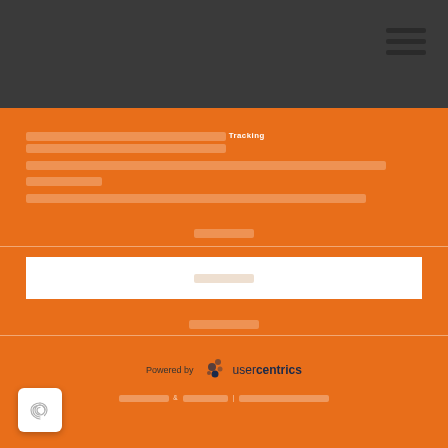[navigation header with hamburger menu]
[redacted text] Tracking [redacted text]
[redacted]
[redacted]
[redacted]
[Figure (logo): Powered by usercentrics logo with dots icon]
[redacted] & [redacted] | [redacted]